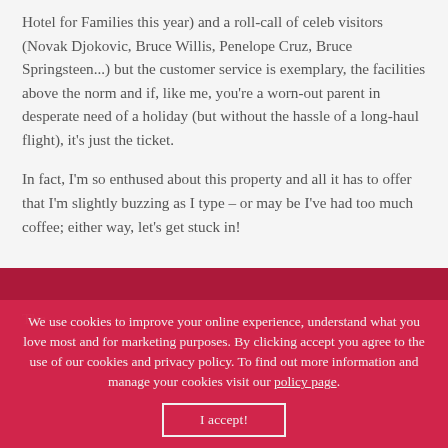Hotel for Families this year) and a roll-call of celeb visitors (Novak Djokovic, Bruce Willis, Penelope Cruz, Bruce Springsteen...) but the customer service is exemplary, the facilities above the norm and if, like me, you're a worn-out parent in desperate need of a holiday (but without the hassle of a long-haul flight), it's just the ticket.
In fact, I'm so enthused about this property and all it has to offer that I'm slightly buzzing as I type – or may be I've had too much coffee; either way, let's get stuck in!
The
We use cookies to improve your online experience, understand what you love most and for marketing purposes. By clicking accept you agree to the use of our cookies and privacy policy. To find out more information and manage your cookies visit our policy page.
I accept!